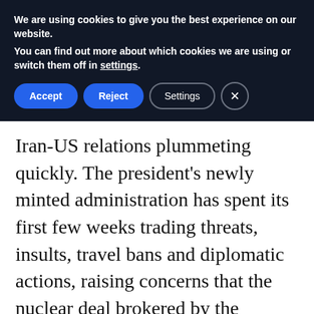We are using cookies to give you the best experience on our website. You can find out more about which cookies we are using or switch them off in settings.
Iran-US relations plummeting quickly. The president's newly minted administration has spent its first few weeks trading threats, insults, travel bans and diplomatic actions, raising concerns that the nuclear deal brokered by the Obama administration may be cast aside by both states as an act of defiance.